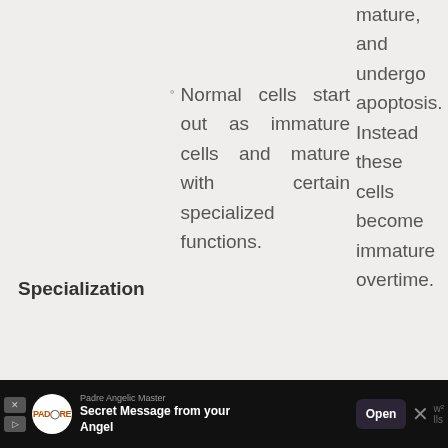mature, and undergo apoptosis. Instead these cells become immature overtime.
Specialization
Normal cells start out as immature cells and mature with certain specialized functions.
Cancer cells are primitive and they don't have specialized functions.